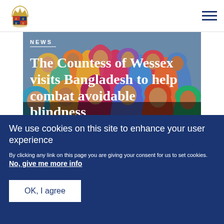[Figure (logo): Royal coat of arms / crown crest logo in top left header]
[Figure (photo): A group of women wearing colourful headscarves in Bangladesh, photographed outdoors]
NEWS
The Countess of Wessex visits Bangladesh to help combat avoidable blindness
We use cookies on this site to enhance your user experience
By clicking any link on this page you are giving your consent for us to set cookies. No, give me more info
OK, I agree